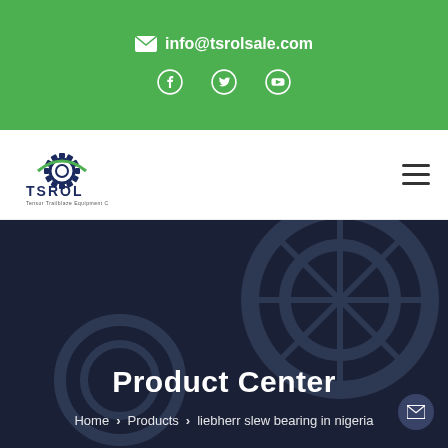info@tsrolsale.com
[Figure (logo): TSROL company logo with gear and rainbow arc]
Product Center
Home > Products > liebherr slew bearing in nigeria